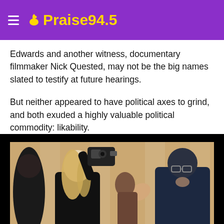Praise 94.5
Edwards and another witness, documentary filmmaker Nick Quested, may not be the big names slated to testify at future hearings.
But neither appeared to have political axes to grind, and both exuded a highly valuable political commodity: likability.
[Figure (photo): Photo of witnesses at a hearing; a blonde woman holds a camera aloft, a person to the far right rests their chin on their hand, and other attendees are visible in the background with golden pillar decor.]
• • •